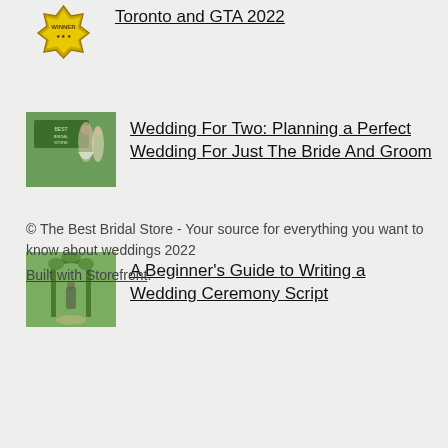Toronto and GTA 2022
Wedding For Two: Planning a Perfect Wedding For Just The Bride And Groom
A Beginner's Guide to Writing a Wedding Ceremony Script
© The Best Bridal Store - Your source for everything you want to know about weddings 2022
Built with Storefront.